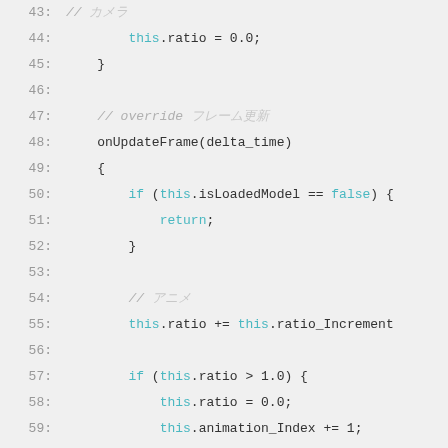Code listing lines 43-67 showing JavaScript animation logic with this.ratio, onUpdateFrame, this.animation_Index, this.model_Point.longitude, this.model_Point.latitude